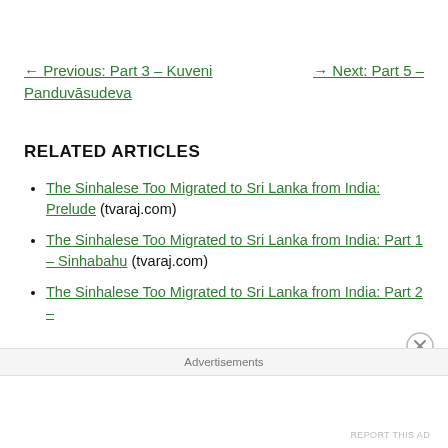← Previous: Part 3 – Kuveni Panduvāsudeva
→ Next: Part 5 –
RELATED ARTICLES
The Sinhalese Too Migrated to Sri Lanka from India: Prelude (tvaraj.com)
The Sinhalese Too Migrated to Sri Lanka from India: Part 1 – Sinhabahu (tvaraj.com)
The Sinhalese Too Migrated to Sri Lanka from India: Part 2 –
Advertisements